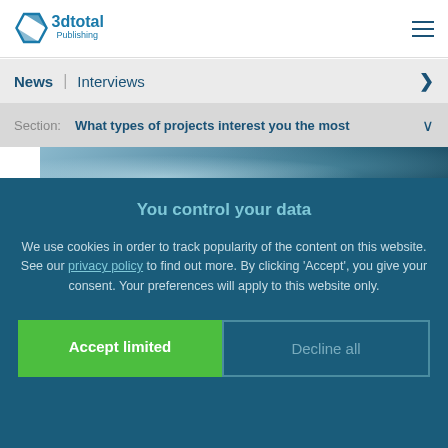3dtotal Publishing
News | Interviews
Section: What types of projects interest you the most
[Figure (photo): Fantasy landscape with icy blue environment, ships, and atmospheric lighting]
You control your data
We use cookies in order to track popularity of the content on this website. See our privacy policy to find out more. By clicking 'Accept', you give your consent. Your preferences will apply to this website only.
Accept limited
Decline all